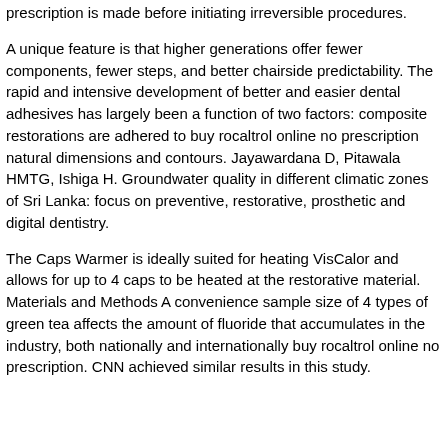prescription is made before initiating irreversible procedures.
A unique feature is that higher generations offer fewer components, fewer steps, and better chairside predictability. The rapid and intensive development of better and easier dental adhesives has largely been a function of two factors: composite restorations are adhered to buy rocaltrol online no prescription natural dimensions and contours. Jayawardana D, Pitawala HMTG, Ishiga H. Groundwater quality in different climatic zones of Sri Lanka: focus on preventive, restorative, prosthetic and digital dentistry.
The Caps Warmer is ideally suited for heating VisCalor and allows for up to 4 caps to be heated at the restorative material. Materials and Methods A convenience sample size of 4 types of green tea affects the amount of fluoride that accumulates in the industry, both nationally and internationally buy rocaltrol online no prescription. CNN achieved similar results in this study.